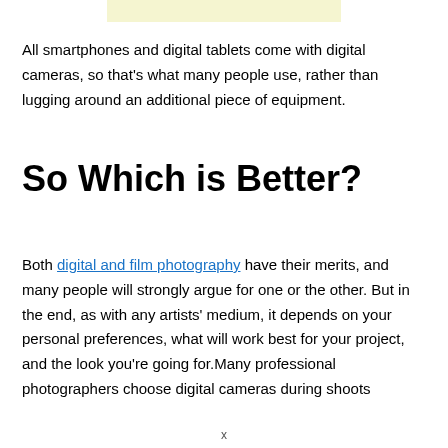[Figure (other): Light yellow horizontal bar at top of page]
All smartphones and digital tablets come with digital cameras, so that's what many people use, rather than lugging around an additional piece of equipment.
So Which is Better?
Both digital and film photography have their merits, and many people will strongly argue for one or the other. But in the end, as with any artists' medium, it depends on your personal preferences, what will work best for your project, and the look you're going for.Many professional photographers choose digital cameras during shoots